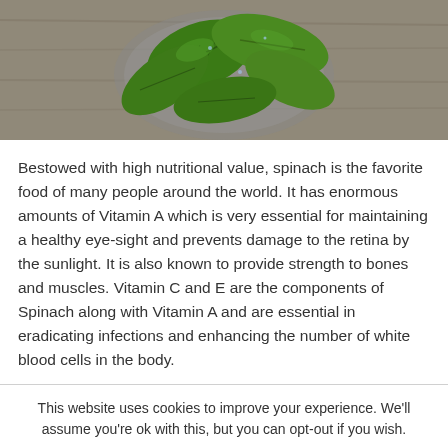[Figure (photo): Close-up photo of fresh green spinach leaves in a bowl on a wooden surface, viewed from above]
Bestowed with high nutritional value, spinach is the favorite food of many people around the world. It has enormous amounts of Vitamin A which is very essential for maintaining a healthy eye-sight and prevents damage to the retina by the sunlight. It is also known to provide strength to bones and muscles. Vitamin C and E are the components of Spinach along with Vitamin A and are essential in eradicating infections and enhancing the number of white blood cells in the body.
This website uses cookies to improve your experience. We'll assume you're ok with this, but you can opt-out if you wish.
Cookie settings   ACCEPT